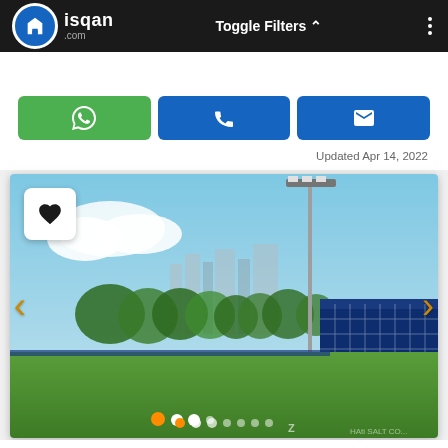isqan.com — Toggle Filters — menu
[Figure (screenshot): Three contact buttons: green WhatsApp button, blue phone button, blue email button]
Updated Apr 14, 2022
[Figure (photo): Aerial/ground-level rendering of a sports field with a ZED-branded blue building structure, floodlight pole, green grass pitch, trees, and city buildings in background. Navigation arrows on left and right. Heart/favorite button in top-left. Carousel dots at bottom.]